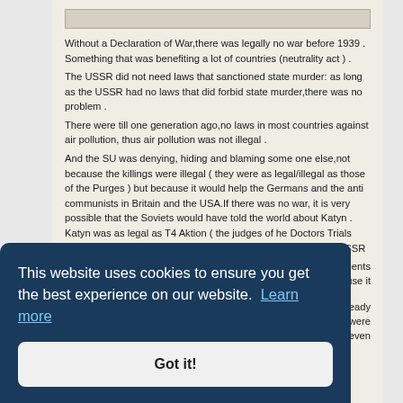Without a Declaration of War,there was legally no war before 1939 . Something that was benefiting a lot of countries (neutrality act ) . The USSR did not need laws that sanctioned state murder: as long as the USSR had no laws that did forbid state murder,there was no problem . There were till one generation ago,no laws in most countries against air pollution, thus air pollution was not illegal . And the SU was denying, hiding and blaming some one else,not because the killings were illegal ( they were as legal/illegal as those of the Purges ) but because it would help the Germans and the anti communists in Britain and the USA.If there was no war, it is very possible that the Soviets would have told the world about Katyn . Katyn was as legal as T4 Aktion ( the judges of he Doctors Trials refused to condemn T4 ).No one in Britain, in the US and the USSR
...nments ...ause it ...lready ...were ...t even
Katyn was the business of Poland and the Soviets . Not of other people
This website uses cookies to ensure you get the best experience on our website. Learn more
Got it!